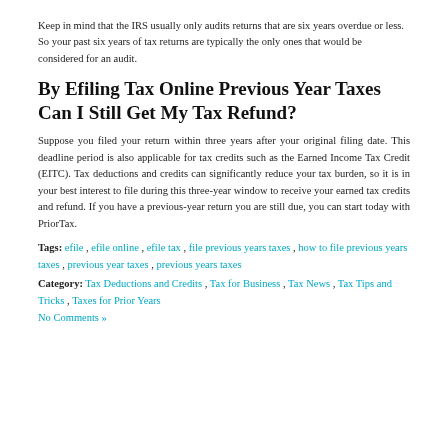Keep in mind that the IRS usually only audits returns that are six years overdue or less. So your past six years of tax returns are typically the only ones that would be considered for an audit.
By Efiling Tax Online Previous Year Taxes Can I Still Get My Tax Refund?
Suppose you filed your return within three years after your original filing date. This deadline period is also applicable for tax credits such as the Earned Income Tax Credit (EITC). Tax deductions and credits can significantly reduce your tax burden, so it is in your best interest to file during this three-year window to receive your earned tax credits and refund. If you have a previous-year return you are still due, you can start today with PriorTax.
Tags: efile, efile online, efile tax, file previous years taxes, how to file previous years taxes, previous year taxes, previous years taxes
Category: Tax Deductions and Credits, Tax for Business, Tax News, Tax Tips and Tricks, Taxes for Prior Years
No Comments »